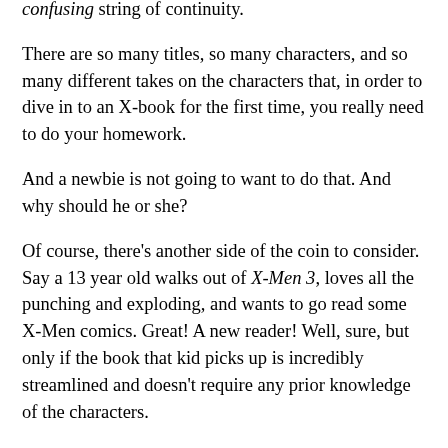confusing string of continuity.
There are so many titles, so many characters, and so many different takes on the characters that, in order to dive in to an X-book for the first time, you really need to do your homework.
And a newbie is not going to want to do that. And why should he or she?
Of course, there's another side of the coin to consider. Say a 13 year old walks out of X-Men 3, loves all the punching and exploding, and wants to go read some X-Men comics. Great! A new reader! Well, sure, but only if the book that kid picks up is incredibly streamlined and doesn't require any prior knowledge of the characters.
And if an X-book is written that way, with all the cookie cutter characters from the movie franchise, then what about the fans who have followed the complicated lives of these characters for years and years?
And that is the dilemma. So there you go, the crux of all...